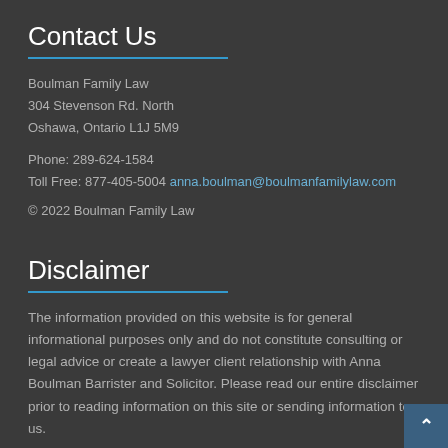Contact Us
Boulman Family Law
304 Stevenson Rd. North
Oshawa, Ontario L1J 5M9
Phone: 289-624-1584
Toll Free: 877-405-5004 anna.boulman@boulmanfamilylaw.com
© 2022 Boulman Family Law
Disclaimer
The information provided on this website is for general informational purposes only and do not constitute consulting or legal advice or create a lawyer client relationship with Anna Boulman Barrister and Solicitor. Please read our entire disclaimer prior to reading information on this site or sending information to us.